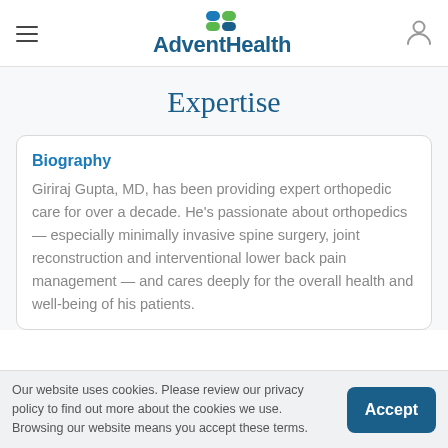AdventHealth
Expertise
Biography
Giriraj Gupta, MD, has been providing expert orthopedic care for over a decade. He's passionate about orthopedics — especially minimally invasive spine surgery, joint reconstruction and interventional lower back pain management — and cares deeply for the overall health and well-being of his patients.
Our website uses cookies. Please review our privacy policy to find out more about the cookies we use. Browsing our website means you accept these terms.